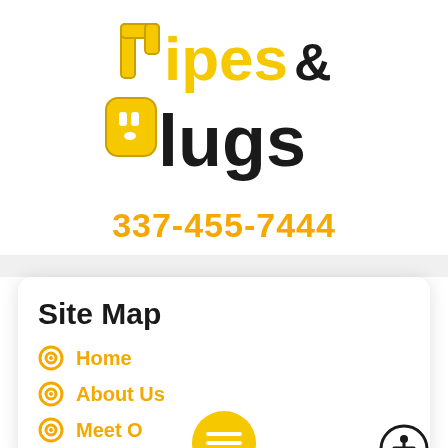[Figure (logo): Pipes & Plugs logo with yellow stylized pipe forming the P in Pipes and an electrical outlet face forming the P in Plugs]
337-455-7444
Site Map
Home
About Us
Meet O...